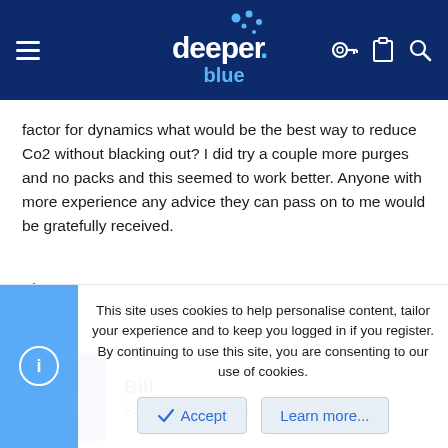deeper blue — navigation header with menu, logo, and icons
factor for dynamics what would be the best way to reduce Co2 without blacking out? I did try a couple more purges and no packs and this seemed to work better. Anyone with more experience any advice they can pass on to me would be gratefully received.
Alan.
Bill
Baron of Breathold
This site uses cookies to help personalise content, tailor your experience and to keep you logged in if you register.
By continuing to use this site, you are consenting to our use of cookies.